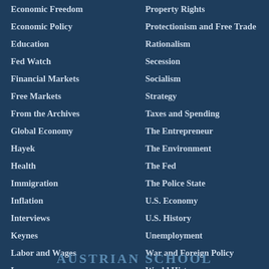Economic Freedom
Economic Policy
Education
Fed Watch
Financial Markets
Free Markets
From the Archives
Global Economy
Hayek
Health
Immigration
Inflation
Interviews
Keynes
Labor and Wages
Law
Legal System
Property Rights
Protectionism and Free Trade
Rationalism
Secession
Socialism
Strategy
Taxes and Spending
The Entrepreneur
The Environment
The Fed
The Police State
U.S. Economy
U.S. History
Unemployment
War and Foreign Policy
World History
AUSTRIAN SCHOOL